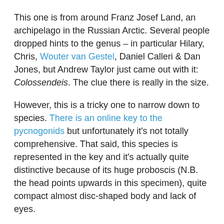This one is from around Franz Josef Land, an archipelago in the Russian Arctic. Several people dropped hints to the genus – in particular Hilary, Chris, Wouter van Gestel, Daniel Calleri & Dan Jones, but Andrew Taylor just came out with it: Colossendeis. The clue there is really in the size.
However, this is a tricky one to narrow down to species. There is an online key to the pycnogonids but unfortunately it's not totally comprehensive. That said, this species is represented in the key and it's actually quite distinctive because of its huge proboscis (N.B. the head points upwards in this specimen), quite compact almost disc-shaped body and lack of eyes.
These characteristics match the description for Colossendeis proboscidea (Sabine, 1824), which is